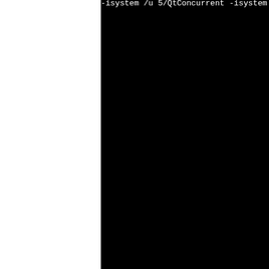...isystem /usr/include/qt5/QtConcurrent -isystem /usr/include/KF5/KWindowSystem -isystem /usr/include/qt5/QtGui -isystem /usr/include/qt5/QtWidgets -isystem /usr/include/KF5/KWidgets -isystem /usr/include/KF5/KWidgetsAddons -isystem /usr/include/KF5/5/Solid -isystem /usr/include/KF5/KCompletion -isystem /usr/include/KF5/KWidgetsAddons -isystem /usr/include/KF5/KXmlGui -isystem /usr/include/qt5/QtXmlPatterns -isystem /usr/include/qt5/QtXml -isystem /usr/include/KF5/KConfigWidgets -isystem /usr/include/KF5/KWidgets -isystem /usr/include/KF5/KCodecs -isystem /usr/include/KF5/KConfigGui -isystem /usr/include/KF5/KAuthWidgets -isystem /usr/include/KF5/KAuthCore -isystem /usr/include/KF5/KConfigCore -isystem /usr/include/KF5/ -isystem /usr/include/KF5/KTextWidgets -isystem /usr/include/KF5/SonnetUi -isystem /usr/include/KF5/de/KF5/Sonnet -fno-operator-names -fno-exceptions -Wall -...